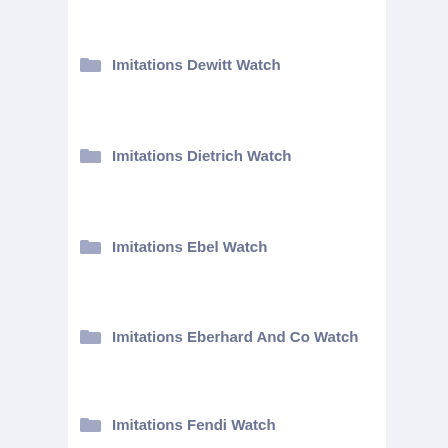Imitations Dewitt Watch
Imitations Dietrich Watch
Imitations Ebel Watch
Imitations Eberhard And Co Watch
Imitations Fendi Watch
Imitations Fortis Watch
Imitations Girard Perregaux Watch
Imitations Glashutte Watch
Imitations Graham Watch
Imitations Harry Winston Watch
Imitations Jacob And Co
Imitations Jaeger Lecoultre Watch